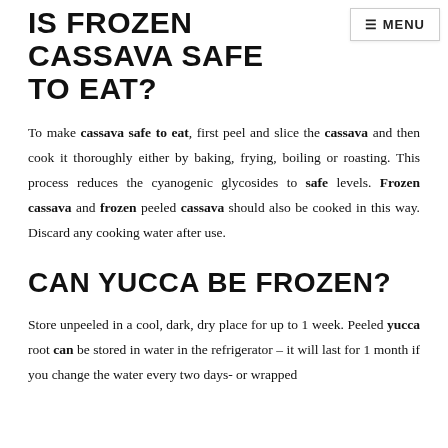IS FROZEN CASSAVA SAFE TO EAT?
To make cassava safe to eat, first peel and slice the cassava and then cook it thoroughly either by baking, frying, boiling or roasting. This process reduces the cyanogenic glycosides to safe levels. Frozen cassava and frozen peeled cassava should also be cooked in this way. Discard any cooking water after use.
CAN YUCCA BE FROZEN?
Store unpeeled in a cool, dark, dry place for up to 1 week. Peeled yucca root can be stored in water in the refrigerator – it will last for 1 month if you change the water every two days- or wrapped